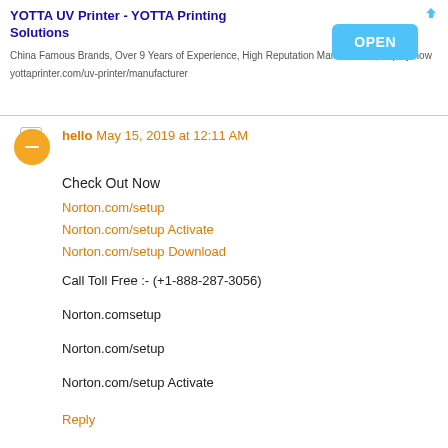[Figure (other): Advertisement banner for YOTTA UV Printer - YOTTA Printing Solutions with OPEN button]
hello  May 15, 2019 at 12:11 AM
Check Out Now
Norton.com/setup
Norton.com/setup Activate
Norton.com/setup Download

Call Toll Free :- (+1-888-287-3056)


Norton.comsetup

Norton.com/setup

Norton.com/setup Activate
Reply